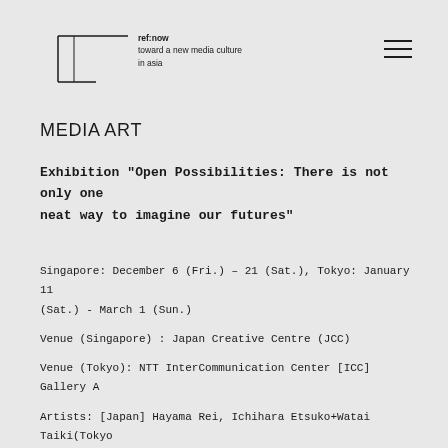ref:now toward a new media culture in asia
MEDIA ART
Exhibition "Open Possibilities: There is not only one neat way to imagine our futures"
Singapore: December 6 (Fri.) – 21 (Sat.), Tokyo: January 11 (Sat.) - March 1 (Sun.)

Venue (Singapore) : Japan Creative Centre (JCC)

Venue (Tokyo): NTT InterCommunication Center [ICC] Gallery A

Artists: [Japan] Hayama Rei, Ichihara Etsuko+Watai Taiki(Tokyo only), yang02 [Singapore] INTER–MISSION, Zai Tang (Tokyo only), [Indonesia] Waft Lab, Lintang Radittiya, Heri Dono